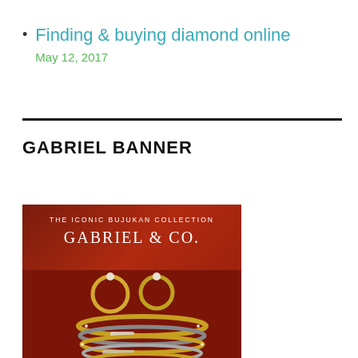Finding & buying diamond online
May 12, 2017
GABRIEL BANNER
[Figure (photo): Gabriel & Co. advertisement banner featuring the Iconic Bujukan Collection — gold and diamond bracelets stacked on a dark red background with text 'THE ICONIC BUJUKAN COLLECTION' and 'GABRIEL & CO.']